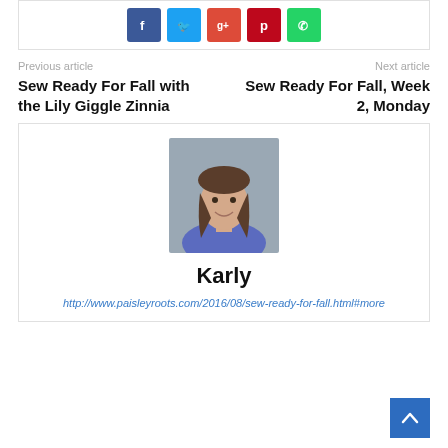[Figure (other): Social sharing bar with Facebook, Twitter, Google+, Pinterest, and WhatsApp buttons]
Previous article
Sew Ready For Fall with the Lily Giggle Zinnia
Next article
Sew Ready For Fall, Week 2, Monday
[Figure (photo): Author photo of Karly, a woman with long brown hair wearing a blue top, smiling]
Karly
http://www.paisleyroots.com/2016/08/sew-ready-for-fall.html#more